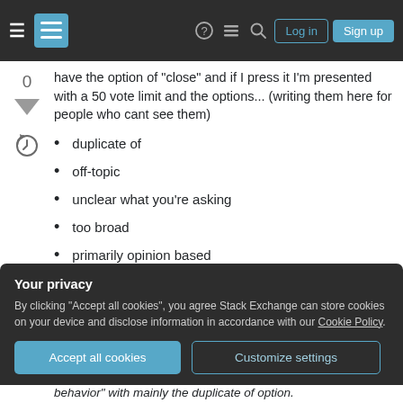Stack Exchange navigation bar with hamburger menu, logo, help, chat, search, Log in, Sign up buttons
have the option of "close" and if I press it I'm presented with a 50 vote limit and the options... (writing them here for people who cant see them)
duplicate of
off-topic
unclear what you're asking
too broad
primarily opinion based
Your privacy
By clicking "Accept all cookies", you agree Stack Exchange can store cookies on your device and disclose information in accordance with our Cookie Policy.
behavior" with mainly the duplicate of option.